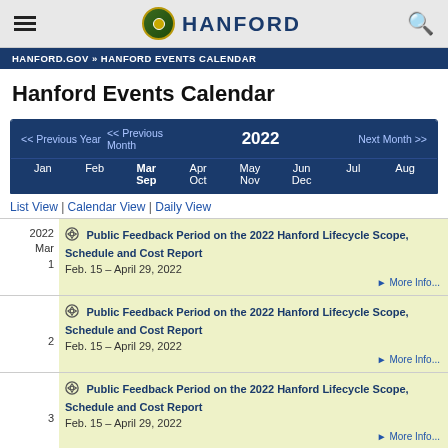Hanford
HANFORD.GOV » HANFORD EVENTS CALENDAR
Hanford Events Calendar
| Navigation |
| --- |
| << Previous Year | << Previous Month | 2022 | Next Month >> |
| Jan | Feb | Mar Sep | Apr Oct | May Nov | Jun Dec | Jul | Aug |
List View | Calendar View | Daily View
2022 Mar 1 – Public Feedback Period on the 2022 Hanford Lifecycle Scope, Schedule and Cost Report – Feb. 15 – April 29, 2022 – More Info...
2 – Public Feedback Period on the 2022 Hanford Lifecycle Scope, Schedule and Cost Report – Feb. 15 – April 29, 2022 – More Info...
3 – Public Feedback Period on the 2022 Hanford Lifecycle Scope, Schedule and Cost Report – Feb. 15 – April 29, 2022 – More Info...
4 – Public Feedback Period on the 2022 Hanford Lifecycle